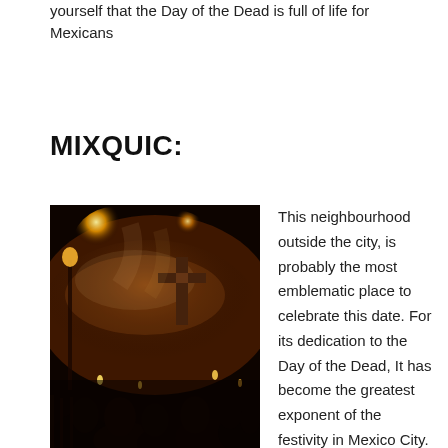yourself that the Day of the Dead is full of life for Mexicans
MIXQUIC:
[Figure (photo): Night photograph of a crowded cemetery in Mixquic during Day of the Dead celebration, showing a large cross, candles, torches, amber/orange glowing lights, smoke, and silhouettes of people gathered among graves.]
This neighbourhood outside the city, is probably the most emblematic place to celebrate this date. For its dedication to the Day of the Dead, It has become the greatest exponent of the festivity in Mexico City.
Its streets and centers